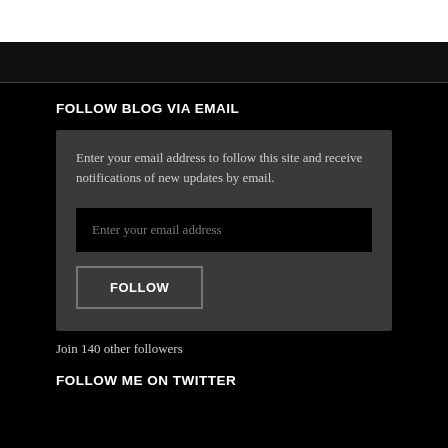FOLLOW BLOG VIA EMAIL
Enter your email address to follow this site and receive notifications of new updates by email.
Enter your email address
FOLLOW
Join 140 other followers
FOLLOW ME ON TWITTER